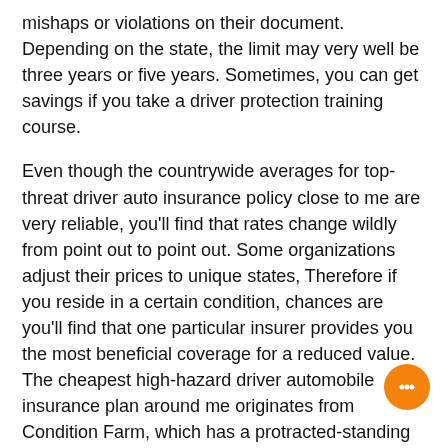mishaps or violations on their document. Depending on the state, the limit may very well be three years or five years. Sometimes, you can get savings if you take a driver protection training course.
Even though the countrywide averages for top-threat driver auto insurance policy close to me are very reliable, you'll find that rates change wildly from point out to point out. Some organizations adjust their prices to unique states, Therefore if you reside in a certain condition, chances are you'll find that one particular insurer provides you the most beneficial coverage for a reduced value. The cheapest high-hazard driver automobile insurance plan around me originates from Condition Farm, which has a protracted-standing standing for furnishing exceptional company.
The ultimate way to find a high-threat driver auto insurance policies in the vicinity of me is always to enter your ZIP code and Look at rates. The price of large-threat car or truck insurance coverage around me can vary from point out to